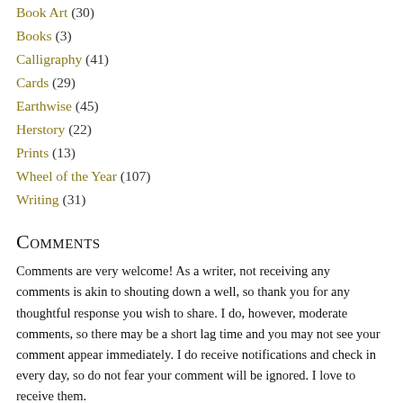Book Art (30)
Books (3)
Calligraphy (41)
Cards (29)
Earthwise (45)
Herstory (22)
Prints (13)
Wheel of the Year (107)
Writing (31)
Comments
Comments are very welcome! As a writer, not receiving any comments is akin to shouting down a well, so thank you for any thoughtful response you wish to share. I do, however, moderate comments, so there may be a short lag time and you may not see your comment appear immediately. I do receive notifications and check in every day, so do not fear your comment will be ignored. I love to receive them.